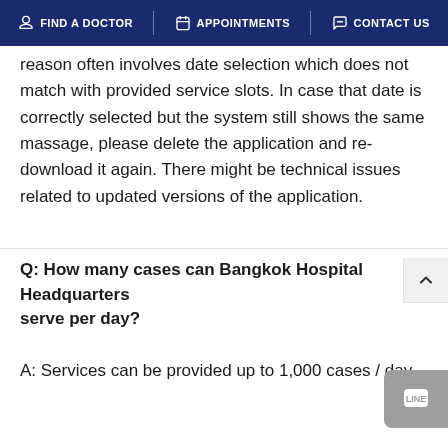FIND A DOCTOR   APPOINTMENTS   CONTACT US
reason often involves date selection which does not match with provided service slots. In case that date is correctly selected but the system still shows the same massage, please delete the application and re-download it again. There might be technical issues related to updated versions of the application.
Q: How many cases can Bangkok Hospital Headquarters serve per day?
A: Services can be provided up to 1,000 cases / day.